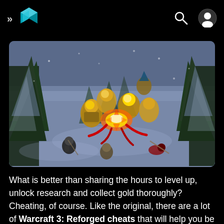» [logo] [search] [user]
[Figure (screenshot): Warcraft 3: Reforged gameplay screenshot showing an isometric view of armored units in a winter/snow environment with pine trees, characters with golden armor gathered around a glowing fire/explosion effect.]
What is better than sharing the hours to level up, unlock research and collect gold thoroughly? Cheating, of course. Like the original, there are a lot of Warcraft 3: Reforged cheats that will help you be unstoppable in no time. Unfortunately, there is a warning; You can only use cheat codes in single player mode, so there is no trop in